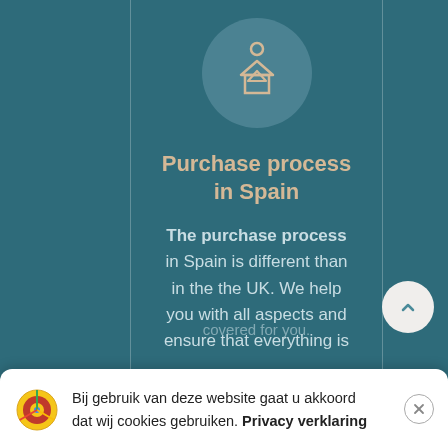[Figure (illustration): Circular icon with a person and house outline in beige/tan color on a muted teal circular background]
Purchase process in Spain
The purchase process in Spain is different than in the the UK. We help you with all aspects and ensure that everything is
Please contact
Bij gebruik van deze website gaat u akkoord dat wij cookies gebruiken. Privacy verklaring